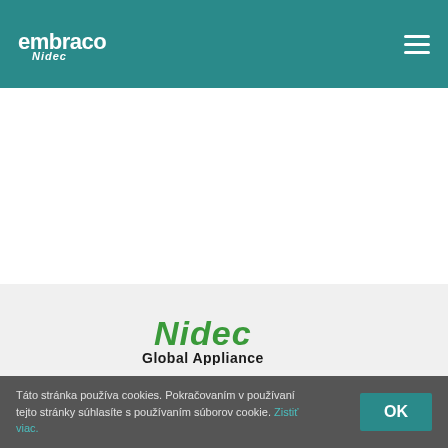[Figure (logo): Embraco Nidec logo in white on teal header bar, with hamburger menu icon on the right]
[Figure (logo): Nidec Global Appliance logo (green italic Nidec text with black Global Appliance below) in gray section]
[Figure (infographic): Social media icons: Facebook (f), LinkedIn (in), YouTube (play button) in teal color]
Táto stránka používa cookies. Pokračovaním v používaní tejto stránky súhlasíte s používaním súborov cookie. Zistiť viac.